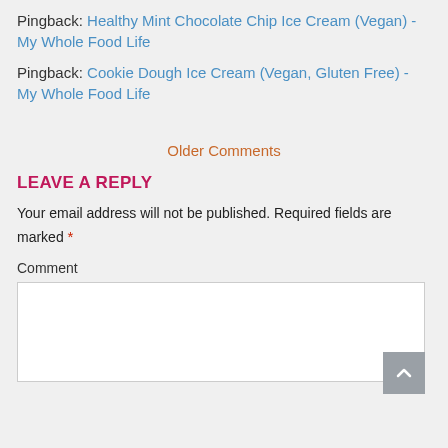Pingback: Healthy Mint Chocolate Chip Ice Cream (Vegan) - My Whole Food Life
Pingback: Cookie Dough Ice Cream (Vegan, Gluten Free) - My Whole Food Life
Older Comments
LEAVE A REPLY
Your email address will not be published. Required fields are marked *
Comment